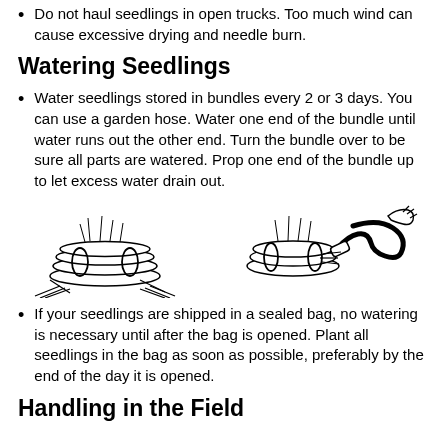Do not haul seedlings in open trucks. Too much wind can cause excessive drying and needle burn.
Watering Seedlings
Water seedlings stored in bundles every 2 or 3 days. You can use a garden hose. Water one end of the bundle until water runs out the other end. Turn the bundle over to be sure all parts are watered. Prop one end of the bundle up to let excess water drain out.
[Figure (illustration): Two illustrations: left shows bundled seedlings tied together in a pile; right shows a bundle of seedlings being watered with a garden hose held by a hand.]
If your seedlings are shipped in a sealed bag, no watering is necessary until after the bag is opened. Plant all seedlings in the bag as soon as possible, preferably by the end of the day it is opened.
Handling in the Field